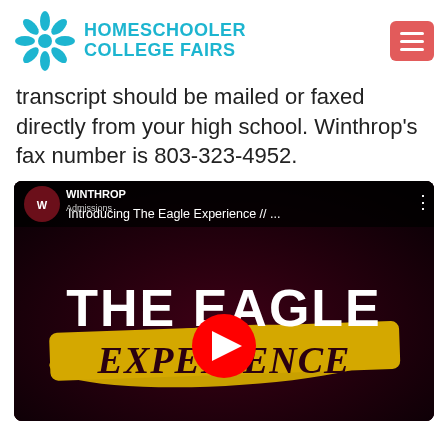HOMESCHOOLER COLLEGE FAIRS
transcript should be mailed or faxed directly from your high school. Winthrop's fax number is 803-323-4952.
[Figure (screenshot): YouTube video embed showing 'Introducing The Eagle Experience // ...' with Winthrop University Admissions channel thumbnail. The video thumbnail shows 'THE EAGLE EXPERIENCE' text on a dark maroon background with a gold brush stroke, featuring a YouTube play button in the center.]